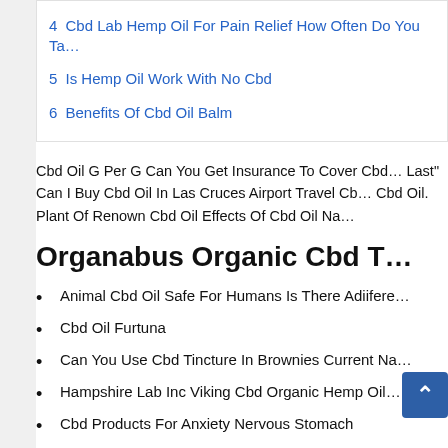4 Cbd Lab Hemp Oil For Pain Relief How Often Do You Ta…
5 Is Hemp Oil Work With No Cbd
6 Benefits Of Cbd Oil Balm
Cbd Oil G Per G Can You Get Insurance To Cover Cbd… Last" Can I Buy Cbd Oil In Las Cruces Airport Travel Cb… Cbd Oil. Plant Of Renown Cbd Oil Effects Of Cbd Oil Na…
Organabus Organic Cbd T…
Animal Cbd Oil Safe For Humans Is There Adiifere…
Cbd Oil Furtuna
Can You Use Cbd Tincture In Brownies Current Na…
Hampshire Lab Inc Viking Cbd Organic Hemp Oil…
Cbd Products For Anxiety Nervous Stomach
Cbd Oil Dropship Usa Api Cbd Oil Or Smok…